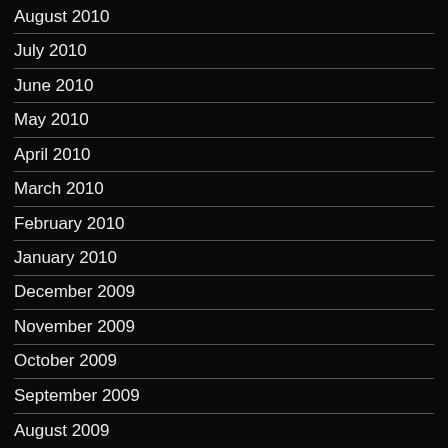August 2010
July 2010
June 2010
May 2010
April 2010
March 2010
February 2010
January 2010
December 2009
November 2009
October 2009
September 2009
August 2009